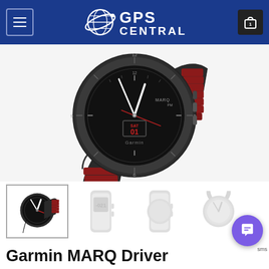GPS Central
[Figure (photo): Garmin MARQ Driver smartwatch with black case and dark red metal bracelet band, analog watch face showing SAT 01, red second hand]
[Figure (photo): Thumbnail row: selected main view of Garmin MARQ Driver with red band (highlighted), plus three faded alternate angle views of the same watch]
Garmin MARQ Driver